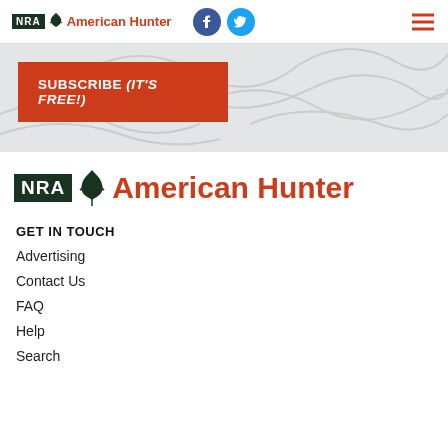NRA American Hunter
[Figure (infographic): Subscribe (IT'S FREE!) banner button on topographic pattern background]
[Figure (logo): NRA American Hunter logo - large footer version]
GET IN TOUCH
Advertising
Contact Us
FAQ
Help
Search